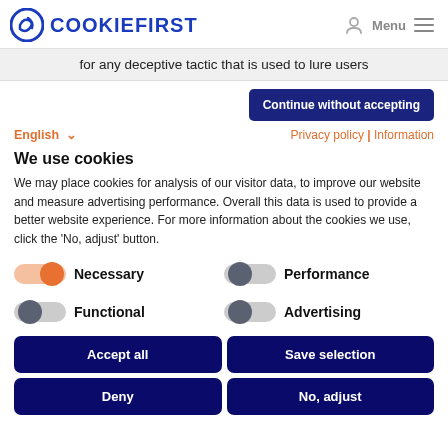COOKIEFIRST Menu
for any deceptive tactic that is used to lure users
Continue without accepting
English  Privacy policy | Information
We use cookies
We may place cookies for analysis of our visitor data, to improve our website and measure advertising performance. Overall this data is used to provide a better website experience. For more information about the cookies we use, click the ‘No, adjust’ button.
Necessary
Performance
Functional
Advertising
Accept all
Save selection
Deny
No, adjust